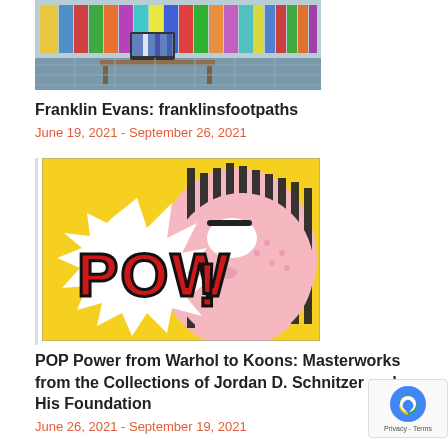[Figure (photo): Franklin Evans exhibition room with artworks and a TV on a table]
Franklin Evans: franklinsfootpaths
June 19, 2021 - September 26, 2021
[Figure (photo): Pop art image showing POW! text with comic book style face, Roy Lichtenstein style]
POP Power from Warhol to Koons: Masterworks from the Collections of Jordan D. Schnitzer and His Foundation
June 26, 2021 - September 19, 2021